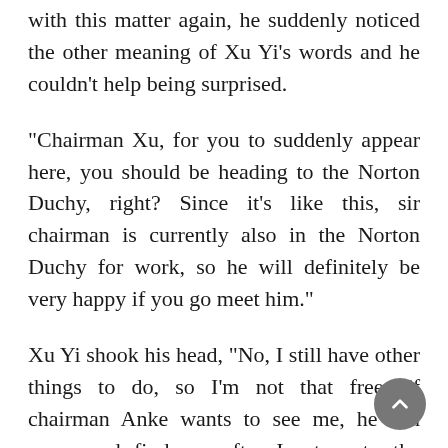with this matter again, he suddenly noticed the other meaning of Xu Yi's words and he couldn't help being surprised.
“Chairman Xu, for you to suddenly appear here, you should be heading to the Norton Duchy, right? Since it’s like this, sir chairman is currently also in the Norton Duchy for work, so he will definitely be very happy if you go meet him.”
Xu Yi shook his head, “No, I still have other things to do, so I’m not that free. If chairman Anke wants to see me, he can come and find me after I return to the Stantine Duchy.”